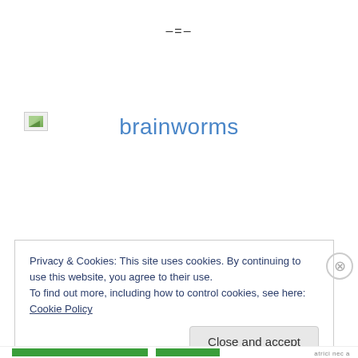–=–
[Figure (illustration): Broken image icon placeholder (small rectangle with image broken icon)]
brainworms
Privacy & Cookies: This site uses cookies. By continuing to use this website, you agree to their use.
To find out more, including how to control cookies, see here: Cookie Policy
Close and accept